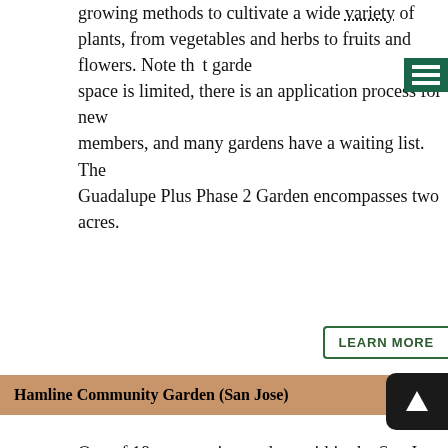growing methods to cultivate a wide variety of plants, from vegetables and herbs to fruits and flowers. Note that garden space is limited, there is an application process for new members, and many gardens have a waiting list. The Guadalupe Plus Phase 2 Garden encompasses two acres.
Hamline Community Garden (San Jose)
One of 18 community gardens within the San Jos metropolitan area. Grow plots range in size from 10 x 10 to 20 x 30, and are assigned to residents on a first come, first served basis. Gardeners employ organic growing methods to cultivate a wide variety of plants, from vegetables and herbs to fruits and flowers. Note that garden space is limited, there is an application process for members, and many gardens have a waiting list. The